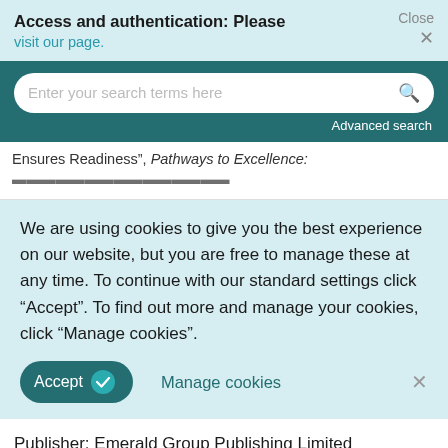Access and authentication: Please visit our page.
Close ×
Enter your search terms here
Advanced search
Ensures Readiness", Pathways to Excellence:
We are using cookies to give you the best experience on our website, but you are free to manage these at any time. To continue with our standard settings click "Accept". To find out more and manage your cookies, click "Manage cookies".
Accept
Manage cookies
×
Publisher: Emerald Group Publishing Limited
Copyright © 2014 Emerald Group Publishing